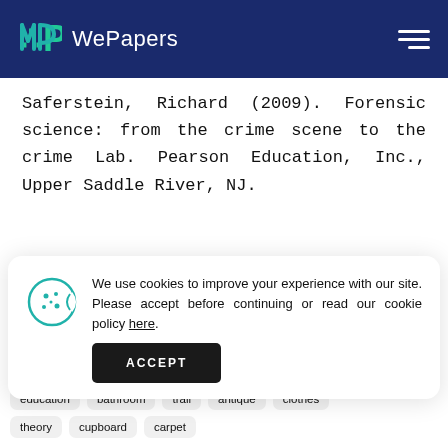WePapers
Saferstein, Richard (2009). Forensic science: from the crime scene to the crime Lab. Pearson Education, Inc., Upper Saddle River, NJ.
We use cookies to improve your experience with our site. Please accept before continuing or read our cookie policy here.
education
bathroom
trail
antique
clothes
theory
cupboard
carpet